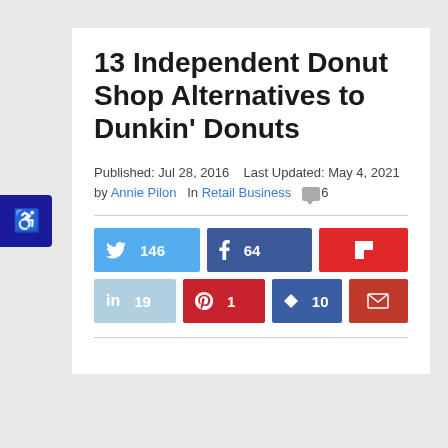13 Independent Donut Shop Alternatives to Dunkin' Donuts
Published: Jul 28, 2016   Last Updated: May 4, 2021   by Annie Pilon   In Retail Business   6
[Figure (infographic): Social share buttons: Twitter 146, Facebook 64, Flipboard (no count), LinkedIn 19, Pinterest 1, Bookmark 10, Email (no count)]